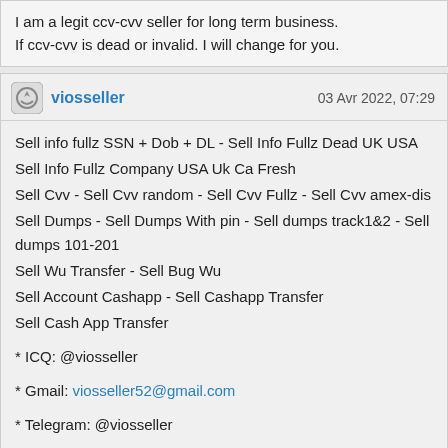I am a legit ccv-cvv seller for long term business.
If ccv-cvv is dead or invalid. I will change for you.
viosseller
03 Avr 2022, 07:29
Sell info fullz SSN + Dob + DL - Sell Info Fullz Dead UK USA
Sell Info Fullz Company USA Uk Ca Fresh
Sell Cvv - Sell Cvv random - Sell Cvv Fullz - Sell Cvv amex-dis
Sell Dumps - Sell Dumps With pin - Sell dumps track1&2 - Sell dumps 101-201
Sell Wu Transfer - Sell Bug Wu
Sell Account Cashapp - Sell Cashapp Transfer
Sell Cash App Transfer

* ICQ: @viosseller

* Gmail: viosseller52@gmail.com

* Telegram: @viosseller

* whatsApp: +84795538416